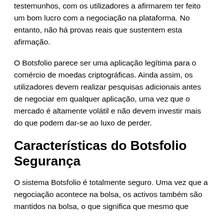testemunhos, com os utilizadores a afirmarem ter feito um bom lucro com a negociação na plataforma. No entanto, não há provas reais que sustentem esta afirmação.
O Botsfolio parece ser uma aplicação legítima para o comércio de moedas criptográficas. Ainda assim, os utilizadores devem realizar pesquisas adicionais antes de negociar em qualquer aplicação, uma vez que o mercado é altamente volátil e não devem investir mais do que podem dar-se ao luxo de perder.
Características do Botsfolio Segurança
O sistema Botsfolio é totalmente seguro. Uma vez que a negociação acontece na bolsa, os activos também são mantidos na bolsa, o que significa que mesmo que